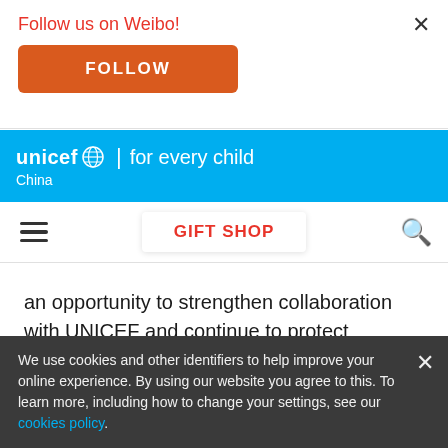Follow us on Weibo!
FOLLOW
[Figure (logo): UNICEF for every child - China logo on blue header bar]
GIFT SHOP
an opportunity to strengthen collaboration with UNICEF and continue to protect vulnerable Cameroonian children against Covid-19, as well as other diseases".
We use cookies and other identifiers to help improve your online experience. By using our website you agree to this. To learn more, including how to change your settings, see our cookies policy.